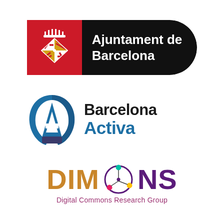[Figure (logo): Ajuntament de Barcelona logo: red section with Barcelona coat of arms on left, black rounded-right section with white text 'Ajuntament de Barcelona']
[Figure (logo): Barcelona Activa logo: teal/blue stylized letter A icon on left, text 'Barcelona' in black and 'Activa' in blue on right]
[Figure (logo): DIMMONS Digital Commons Research Group logo: 'DIM' in orange and 'MONS' in purple with network node graphic between them, subtitle 'Digital Commons Research Group' in pink/magenta]